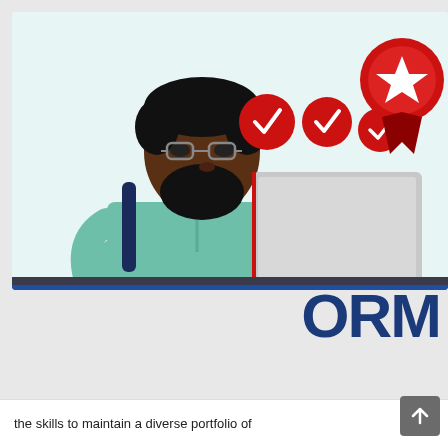[Figure (illustration): Vector illustration of a Black man with glasses and a beard wearing a teal/green shirt, sitting at a desk working on a laptop. Three red circles with white checkmarks float above, and a large red medal/badge with a white star is in the upper right. The background is a light mint/teal color.]
ORM
[Figure (screenshot): Cookie consent popup overlay with a blue info icon, bold navy title 'How we use cookies', an X close button, and body text explaining cookie usage with a blue hyperlink 'Privacy Statement'.]
We use cookies on our websites to deliver our online services. Details about how we use cookies and how you may disable them are set out in our Privacy Statement. By using this website you agree to our use of cookies.
the skills to maintain a diverse portfolio of